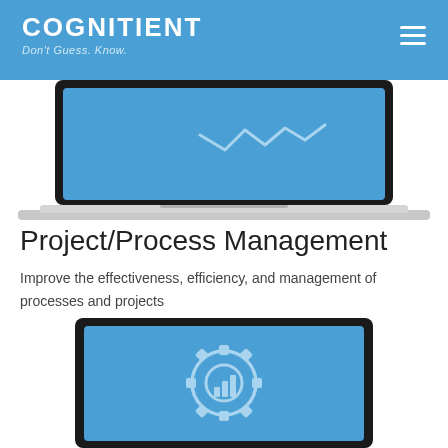COGNITIENT — Don't Guess. Know.
[Figure (illustration): Illustration of a laptop computer with a blue screen showing a line graph/waveform, partially cropped at top]
Project/Process Management
Improve the effectiveness, efficiency, and management of processes and projects
[Figure (illustration): Illustration of a laptop computer with a blue screen showing a gear/settings icon with a bar chart inside it]